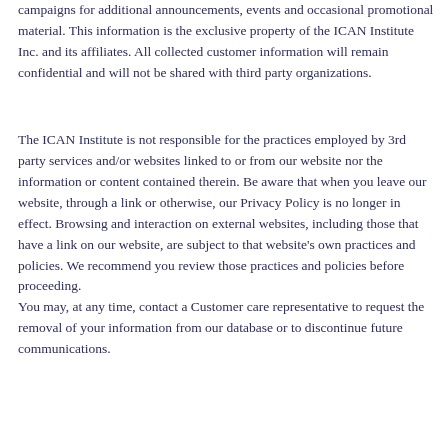campaigns for additional announcements, events and occasional promotional material. This information is the exclusive property of the ICAN Institute Inc. and its affiliates. All collected customer information will remain confidential and will not be shared with third party organizations.
The ICAN Institute is not responsible for the practices employed by 3rd party services and/or websites linked to or from our website nor the information or content contained therein. Be aware that when you leave our website, through a link or otherwise, our Privacy Policy is no longer in effect. Browsing and interaction on external websites, including those that have a link on our website, are subject to that website's own practices and policies. We recommend you review those practices and policies before proceeding.
You may, at any time, contact a Customer care representative to request the removal of your information from our database or to discontinue future communications.